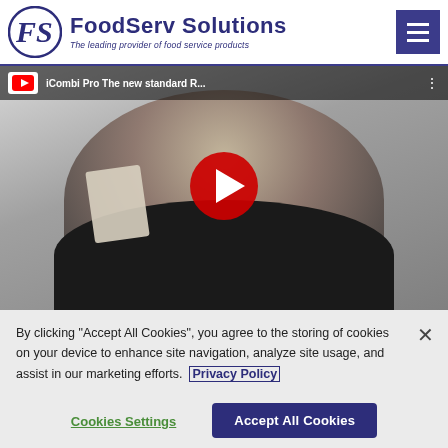[Figure (logo): FoodServ Solutions logo with stylized FS monogram and tagline 'The leading provider of food service products']
[Figure (screenshot): YouTube video thumbnail showing a man holding a card, video title 'iCombi Pro The new standard R...' with YouTube play button overlay]
By clicking “Accept All Cookies”, you agree to the storing of cookies on your device to enhance site navigation, analyze site usage, and assist in our marketing efforts. Privacy Policy
Cookies Settings
Accept All Cookies